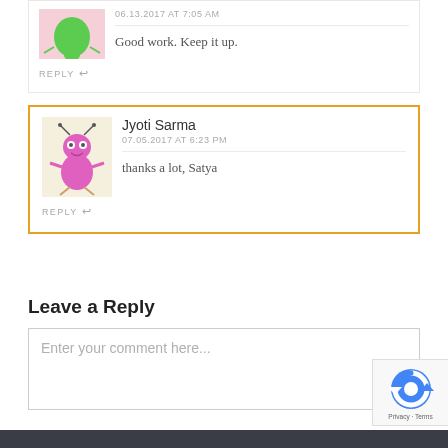06.13.2017 AT 7:05 AM
REPLY
Good work. Keep it up.
Jyoti Sarma
07.05.2017 AT 6:23 PM
REPLY
thanks a lot, Satya
Leave a Reply
Enter your comment here...